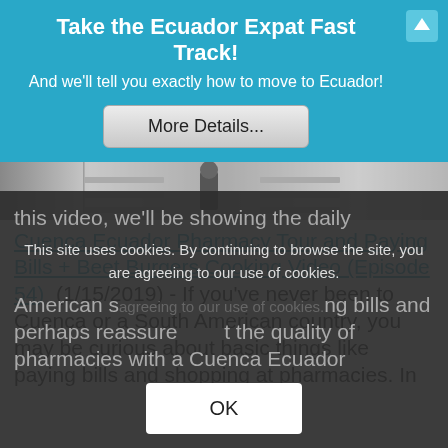Take the Ecuador Expat Fast Track!
And we'll tell you exactly how to move to Ecuador!
[Figure (other): Button: More Details...]
[Figure (photo): Partial image of a store aisle/pharmacy interior]
Cuenca Ecuador Pharmacy Tour and Paying Bills + Beet Burgers Cooking Video (Episode 54) (1/15/2019) - If you've never been to Cuenca or a South American country, you may be curious about basic things like paying bills and shopping at pharmacies. In this video, we'll be showing the daily American s... agreeing bills and perhaps reassure... t the quality of pharmacies with a Cuenca Ecuador
This site uses cookies. By continuing to browse the site, you are agreeing to our use of cookies.
OK